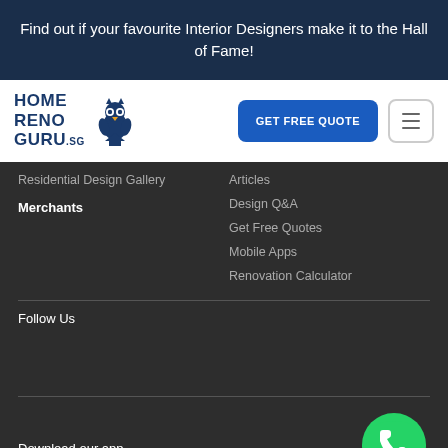Find out if your favourite Interior Designers make it to the Hall of Fame!
[Figure (logo): HomeRenoGuru.sg logo with owl icon]
GET FREE QUOTE
Residential Design Gallery
Articles
Design Q&A
Get Free Quotes
Mobile Apps
Renovation Calculator
Merchants
Follow Us
Download our app
[Figure (illustration): WhatsApp green icon]